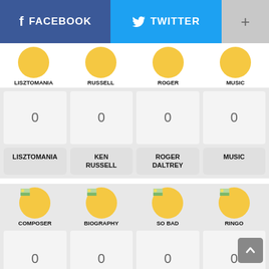[Figure (screenshot): Social sharing buttons: Facebook (blue), Twitter (light blue), and a plus/more button (grey)]
[Figure (infographic): Topic tags row: LISZTOMANIA, RUSSELL, ROGER DALTREY, MUSIC with yellow circles]
| 0 | 0 | 0 | 0 |
| LISZTOMANIA | KEN RUSSELL | ROGER DALTREY | MUSIC |
[Figure (infographic): Topic tags row: COMPOSER, BIOGRAPHY, SO BAD IT'S GOOD, RINGO STARR with yellow circles and landscape icons]
| 0 | 0 | 0 | 0 |